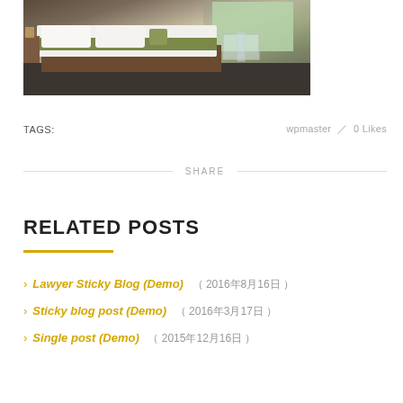[Figure (photo): Hotel room with a bed featuring white pillows and a sage/olive green runner, wooden bed frame, glass side table near a window with natural light and greenery outside]
TAGS:    wpmaster  /  0 Likes
SHARE
RELATED POSTS
› Lawyer Sticky Blog (Demo)  （ 2016年8月16日 ）
› Sticky blog post (Demo)  （ 2016年3月17日 ）
› Single post (Demo)  （ 2015年12月16日 ）